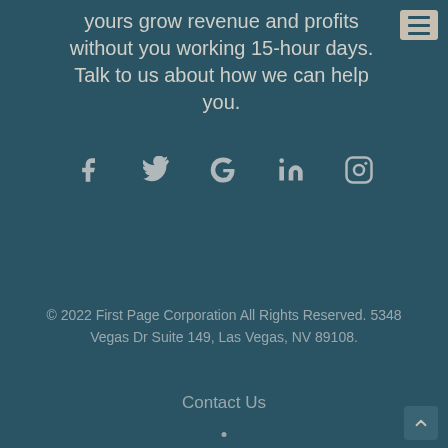yours grow revenue and profits without you working 15-hour days. Talk to us about how we can help you.
[Figure (other): Social media icons: Facebook, Twitter, Google, LinkedIn, Instagram]
© 2022 First Page Corporation All Rights Reserved. 5348 Vegas Dr Suite 149, Las Vegas, NV 89108.
Contact Us